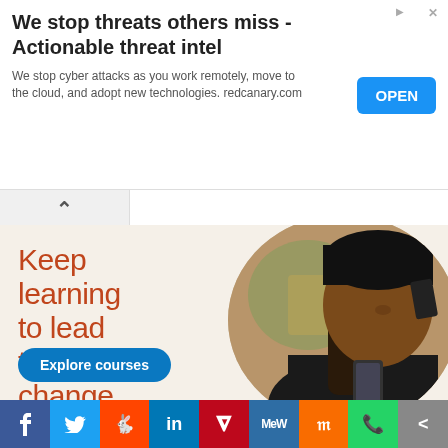[Figure (infographic): Advertisement banner: 'We stop threats others miss - Actionable threat intel' with OPEN button. Text: We stop cyber attacks as you work remotely, move to the cloud, and adopt new technologies. redcanary.com]
[Figure (infographic): LinkedIn Learning advertisement with text 'Keep learning to lead through change.' and 'Explore courses' button, with photo of man on phone]
[Figure (infographic): Social sharing bar with Facebook, Twitter, Reddit, LinkedIn, Pinterest, MeWe, Mix, WhatsApp, and Share buttons]